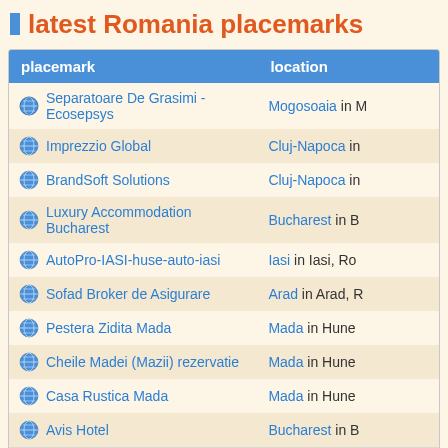latest Romania placemarks
| placemark | location |
| --- | --- |
| Separatoare De Grasimi - Ecosepsys | Mogosoaia in M... |
| Imprezzio Global | Cluj-Napoca in... |
| BrandSoft Solutions | Cluj-Napoca in... |
| Luxury Accommodation Bucharest | Bucharest in B... |
| AutoPro-IASI-huse-auto-iasi | Iasi in Iasi, Ro... |
| Sofad Broker de Asigurare | Arad in Arad, R... |
| Pestera Zidita Mada | Mada in Hune... |
| Cheile Madei (Mazii) rezervatie | Mada in Hune... |
| Casa Rustica Mada | Mada in Hune... |
| Avis Hotel | Bucharest in B... |
| latest 10 placemarks added to Romania |  |
Do you want to share your favourite placemarks with